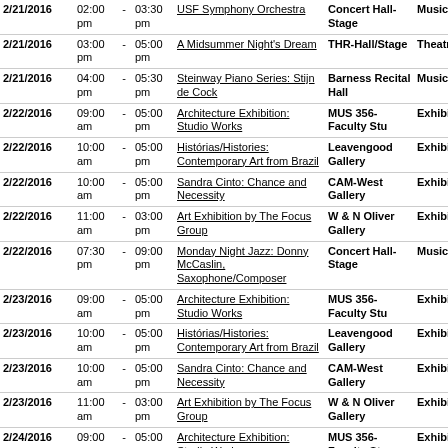| Date | Start |  | End | Event Name | Location | Category |
| --- | --- | --- | --- | --- | --- | --- |
| 2/21/2016 | 02:00 pm | - | 03:30 pm | USF Symphony Orchestra | Concert Hall-Stage | Music |
| 2/21/2016 | 03:00 pm | - | 05:00 pm | A Midsummer Night's Dream | THR-Hall/Stage | Theatre |
| 2/21/2016 | 04:00 pm | - | 05:30 pm | Steinway Piano Series: Stijn de Cock | Barness Recital Hall | Music |
| 2/22/2016 | 09:00 am | - | 05:00 pm | Architecture Exhibition: Studio Works | MUS 356-Faculty Stu | Exhibition |
| 2/22/2016 | 10:00 am | - | 05:00 pm | Histórias/Histories: Contemporary Art from Brazil | Leavengood Gallery | Exhibition |
| 2/22/2016 | 10:00 am | - | 05:00 pm | Sandra Cinto: Chance and Necessity | CAM-West Gallery | Exhibition |
| 2/22/2016 | 11:00 am | - | 03:00 pm | Art Exhibition by The Focus Group | W & N Oliver Gallery | Exhibition |
| 2/22/2016 | 07:30 pm | - | 09:00 pm | Monday Night Jazz: Donny McCaslin, Saxophone/Composer | Concert Hall-Stage | Music |
| 2/23/2016 | 09:00 am | - | 05:00 pm | Architecture Exhibition: Studio Works | MUS 356-Faculty Stu | Exhibition |
| 2/23/2016 | 10:00 am | - | 05:00 pm | Histórias/Histories: Contemporary Art from Brazil | Leavengood Gallery | Exhibition |
| 2/23/2016 | 10:00 am | - | 05:00 pm | Sandra Cinto: Chance and Necessity | CAM-West Gallery | Exhibition |
| 2/23/2016 | 11:00 am | - | 03:00 pm | Art Exhibition by The Focus Group | W & N Oliver Gallery | Exhibition |
| 2/24/2016 | 09:00 am | - | 05:00 pm | Architecture Exhibition: Studio Works | MUS 356-Faculty Stu | Exhibition |
| 2/24/2016 | 10:00 am | - | 05:00 pm | Histórias/Histories: Contemporary Art from | Leavengood Gallery | Exhibition |